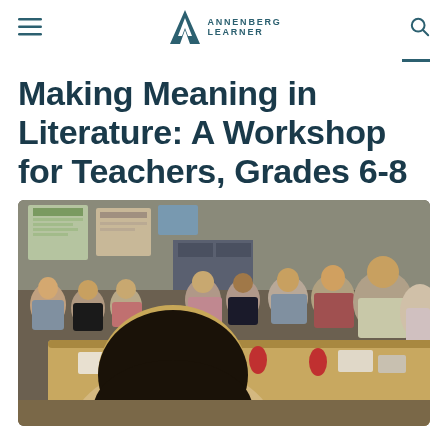Annenberg Learner
Making Meaning in Literature: A Workshop for Teachers, Grades 6-8
[Figure (photo): A group of teachers sitting around a large table in a classroom, engaged in a workshop discussion. Books and materials are spread on the table. The classroom has posters and educational materials on the walls in the background.]